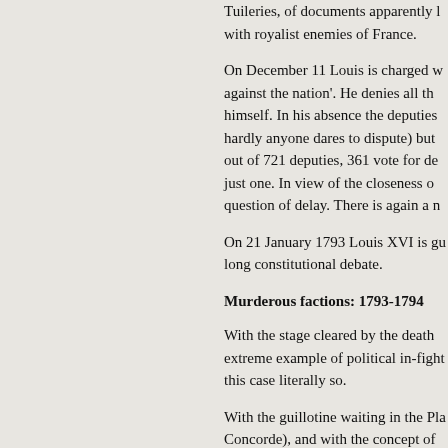Tuileries, of documents apparently linking him with royalist enemies of France.
On December 11 Louis is charged with 'crimes against the nation'. He denies all the charges himself. In his absence the deputies vote (which hardly anyone dares to dispute) but out of 721 deputies, 361 vote for de just one. In view of the closeness o question of delay. There is again a n
On 21 January 1793 Louis XVI is gu long constitutional debate.
Murderous factions: 1793-1794
With the stage cleared by the death extreme example of political in-figh this case literally so.
With the guillotine waiting in the Pla Concorde), and with the concept of massacres of 1792, political failure just of seat or salary. It means a tun public end. The stakes are high.
The first contest is between the onl Girondins and the Jacobins. They d and from Paris, which gives the Jac effect when the Jacobins and the Pa and large numbers of armed citizen The deputies are prevented from lea twenty-nine leading Girondins.